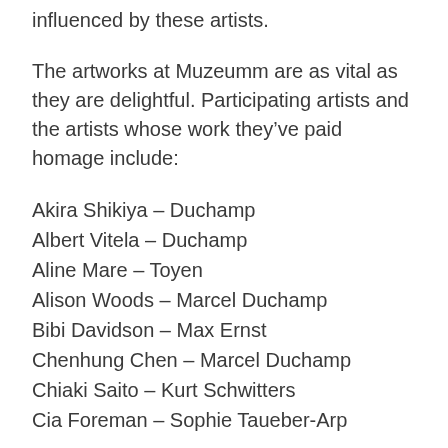influenced by these artists.
The artworks at Muzeumm are as vital as they are delightful. Participating artists and the artists whose work they’ve paid homage include:
Akira Shikiya – Duchamp
Albert Vitela – Duchamp
Aline Mare – Toyen
Alison Woods – Marcel Duchamp
Bibi Davidson – Max Ernst
Chenhung Chen – Marcel Duchamp
Chiaki Saito – Kurt Schwitters
Cia Foreman – Sophie Taueber-Arp